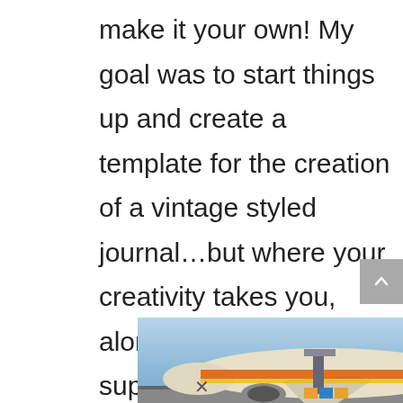make it your own! My goal was to start things up and create a template for the creation of a vintage styled journal...but where your creativity takes you, along with unique supplies... makes
[Figure (photo): Advertisement banner showing an airplane being loaded with cargo on a tarmac. Overlay text reads WITHOUT REGARD TO POLITICS, RELIGION OR ABILITY TO PAY.]